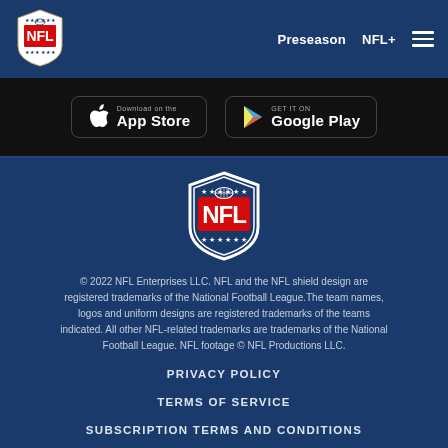Preseason  NFL+
[Figure (logo): NFL shield logo small, top left of header]
[Figure (screenshot): Download on the App Store button (black, rounded rectangle)]
[Figure (screenshot): Get it on Google Play button (black, rounded rectangle)]
[Figure (logo): NFL shield logo large, centered in footer area, white outline with red NFL text]
© 2022 NFL Enterprises LLC. NFL and the NFL shield design are registered trademarks of the National Football League.The team names, logos and uniform designs are registered trademarks of the teams indicated. All other NFL-related trademarks are trademarks of the National Football League. NFL footage © NFL Productions LLC.
PRIVACY POLICY
TERMS OF SERVICE
SUBSCRIPTION TERMS AND CONDITIONS